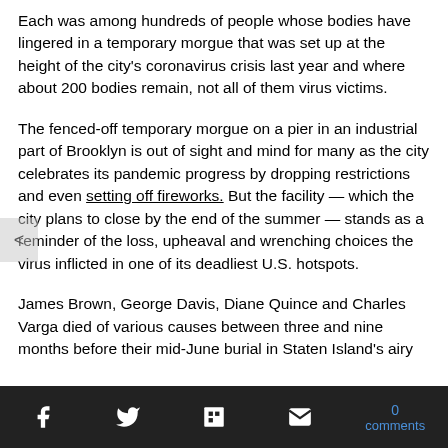Each was among hundreds of people whose bodies have lingered in a temporary morgue that was set up at the height of the city's coronavirus crisis last year and where about 200 bodies remain, not all of them virus victims.
The fenced-off temporary morgue on a pier in an industrial part of Brooklyn is out of sight and mind for many as the city celebrates its pandemic progress by dropping restrictions and even setting off fireworks. But the facility — which the city plans to close by the end of the summer — stands as a reminder of the loss, upheaval and wrenching choices the virus inflicted in one of its deadliest U.S. hotspots.
James Brown, George Davis, Diane Quince and Charles Varga died of various causes between three and nine months before their mid-June burial in Staten Island's airy
f  [twitter]  [flipboard]  [mail]  0 comments